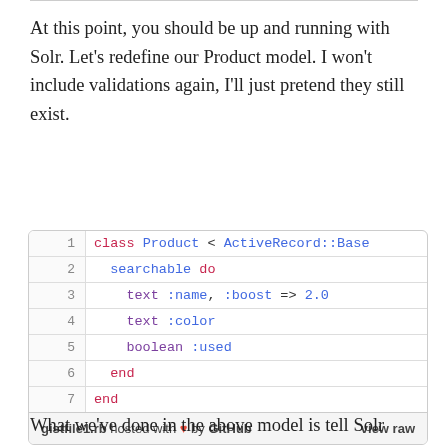At this point, you should be up and running with Solr. Let's redefine our Product model. I won't include validations again, I'll just pretend they still exist.
[Figure (screenshot): A code block showing a Ruby class definition for Product inheriting from ActiveRecord::Base, with searchable block containing text :name with :boost => 2.0, text :color, and boolean :used, followed by a gist footer showing 'gistfile1.rb hosted with heart by GitHub' and 'view raw']
What we've done in the above model is tell Solr